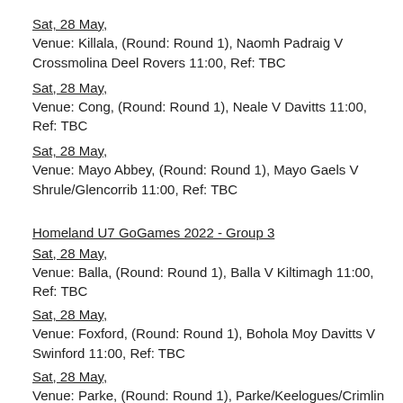Sat, 28 May,
Venue: Killala, (Round: Round 1), Naomh Padraig V Crossmolina Deel Rovers 11:00,  Ref: TBC
Sat, 28 May,
Venue: Cong, (Round: Round 1), Neale V Davitts 11:00,  Ref: TBC
Sat, 28 May,
Venue: Mayo Abbey, (Round: Round 1), Mayo Gaels V Shrule/Glencorrib 11:00,  Ref: TBC
Homeland U7 GoGames 2022 - Group 3
Sat, 28 May,
Venue: Balla, (Round: Round 1), Balla V Kiltimagh 11:00,  Ref: TBC
Sat, 28 May,
Venue: Foxford, (Round: Round 1), Bohola Moy Davitts V Swinford 11:00,  Ref: TBC
Sat, 28 May,
Venue: Parke, (Round: Round 1), Parke/Keelogues/Crimlin V